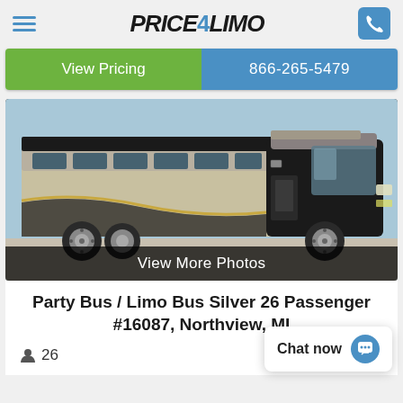Price4Limo
View Pricing | 866-265-5479
[Figure (photo): A large silver and black party/limo bus (Freightliner-style) parked in a lot, side and front view, with 'View More Photos' overlay at the bottom.]
Party Bus / Limo Bus Silver 26 Passenger #16087, Northview, MI
26
Chat now